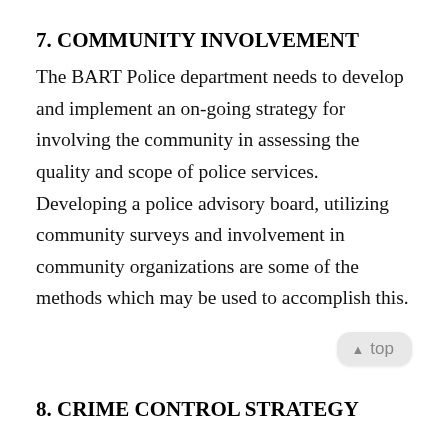7. COMMUNITY INVOLVEMENT
The BART Police department needs to develop and implement an on-going strategy for involving the community in assessing the quality and scope of police services. Developing a police advisory board, utilizing community surveys and involvement in community organizations are some of the methods which may be used to accomplish this.
8. CRIME CONTROL STRATEGY